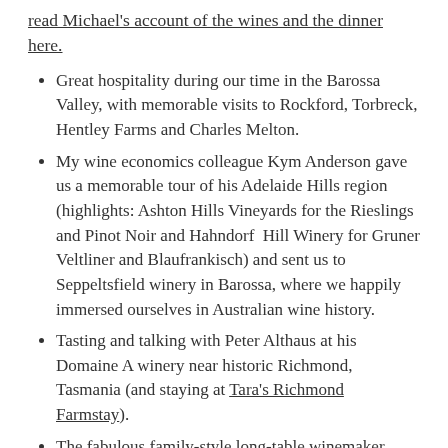read Michael's account of the wines and the dinner here.
Great hospitality during our time in the Barossa Valley, with memorable visits to Rockford, Torbreck, Hentley Farms and Charles Melton.
My wine economics colleague Kym Anderson gave us a memorable tour of his Adelaide Hills region (highlights: Ashton Hills Vineyards for the Rieslings and Pinot Noir and Hahndorf Hill Winery for Gruner Veltliner and Blaufrankisch) and sent us to Seppeltsfield winery in Barossa, where we happily immersed ourselves in Australian wine history.
Tasting and talking with Peter Althaus at his Domaine A winery near historic Richmond, Tasmania (and staying at Tara's Richmond Farmstay).
The fabulous family-style long-table winemaker lunches at Savour Australia. Outstanding food, wine and conversation.
Working (not just attending) the Wednesday